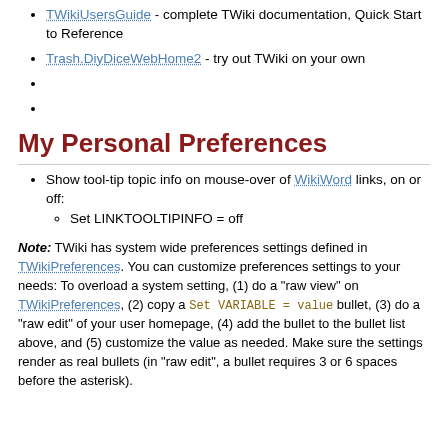TWikiUsersGuide - complete TWiki documentation, Quick Start to Reference
Trash.DiyDiceWebHome2 - try out TWiki on your own
My Personal Preferences
Show tool-tip topic info on mouse-over of WikiWord links, on or off:
  Set LINKTOOLTIPINFO = off
Note: TWiki has system wide preferences settings defined in TWikiPreferences. You can customize preferences settings to your needs: To overload a system setting, (1) do a "raw view" on TWikiPreferences, (2) copy a Set VARIABLE = value bullet, (3) do a "raw edit" of your user homepage, (4) add the bullet to the bullet list above, and (5) customize the value as needed. Make sure the settings render as real bullets (in "raw edit", a bullet requires 3 or 6 spaces before the asterisk).